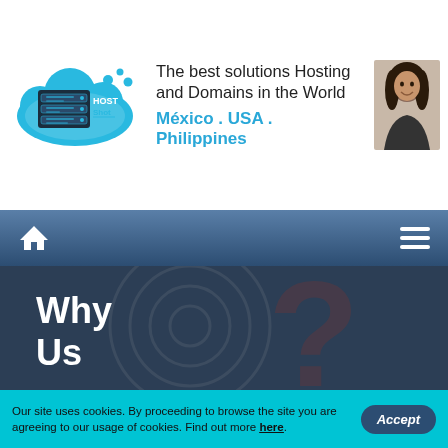[Figure (logo): HostShot logo — cloud shape in blue with server rack icon and text HOST Shot]
The best solutions Hosting and Domains in the World
México . USA . Philippines
[Figure (photo): Photo of a woman with long dark hair smiling]
[Figure (infographic): Navigation bar with home icon and hamburger menu icon on dark blue gradient background]
Why Us
Don't opt for a regular web hosting solution. Choose the exceptional. Choose quality. Choose HostShot.
Our site uses cookies. By proceeding to browse the site you are agreeing to our usage of cookies. Find out more here.